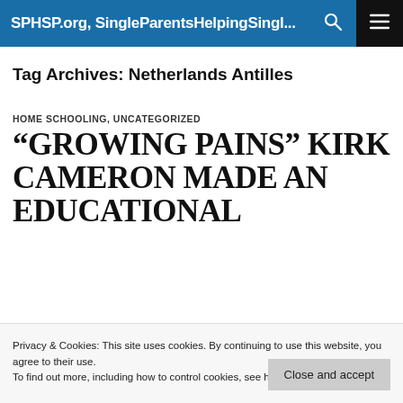SPHSP.org, SingleParentsHelpingSingl...
Tag Archives: Netherlands Antilles
HOME SCHOOLING, UNCATEGORIZED
“GROWING PAINS” KIRK CAMERON MADE AN EDUCATIONAL
Privacy & Cookies: This site uses cookies. By continuing to use this website, you agree to their use.
To find out more, including how to control cookies, see here: Cookie Policy
Close and accept